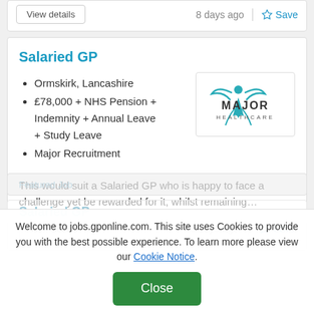View details
8 days ago  Save
Salaried GP
Ormskirk, Lancashire
£78,000 + NHS Pension + Indemnity + Annual Leave + Study Leave
Major Recruitment
[Figure (logo): Major Healthcare logo with teal figure and text]
This would suit a Salaried GP who is happy to face a challenge yet be rewarded for it, whilst remaining…
View details
8 days ago  Save
Welcome to jobs.gponline.com. This site uses Cookies to provide you with the best possible experience. To learn more please view our Cookie Notice.
Close